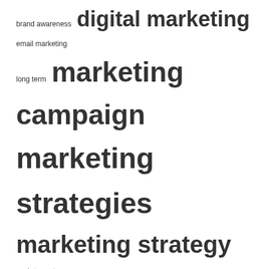[Figure (other): Tag cloud with marketing-related terms in varying font sizes indicating frequency/importance. Terms include: brand awareness, digital marketing, email marketing, long term, marketing campaign, marketing strategies, marketing strategy, market report, market research, north america, products services, target audience, united states.]
RECENT POSTS
Marketing strategies in telecommunications: explained
Affiliate Marketing Solutions Market 2022: SWOT Analysis by Top
Short-term loans vs. bank overdraft fees – InsideSources
How far will the stock market decline go?